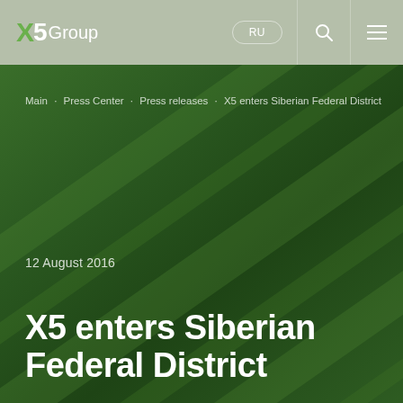X5Group — RU
Main · Press Center · Press releases · X5 enters Siberian Federal District
12 August 2016
X5 enters Siberian Federal District